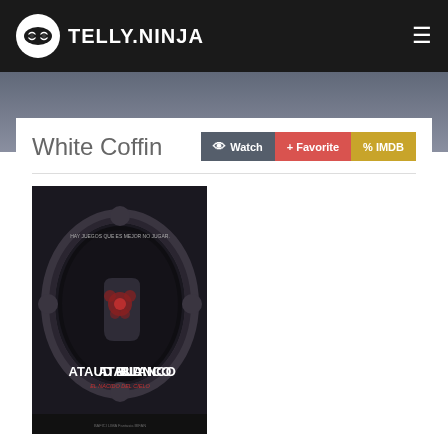TELLY.NINJA
White Coffin
[Figure (photo): Movie poster for 'Ataud Blanco' (White Coffin) showing a dark ornate mirror frame with a hand and flower imagery, dark horror aesthetic]
Title: